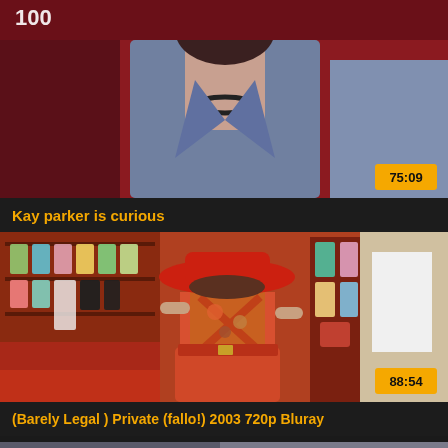[Figure (screenshot): Video thumbnail showing a person in a gray/blue blazer with a dark background, partial upper body view]
75:09
Kay parker is curious
[Figure (screenshot): Video thumbnail showing a person in a red hat and colorful backless top in what appears to be a clothing store with garments on display]
88:54
(Barely Legal ) Private (fallo!) 2003 720p Bluray
[Figure (screenshot): Partial video thumbnail at bottom of page, showing a faint scene]